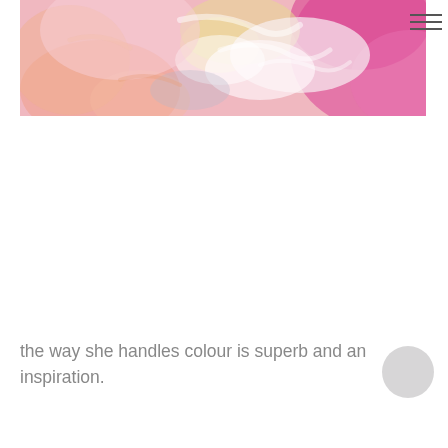[Figure (photo): Abstract oil painting with soft pink, white, peach, and yellow brushstrokes creating a textured, impressionistic surface]
the way she handles colour is superb and an inspiration.